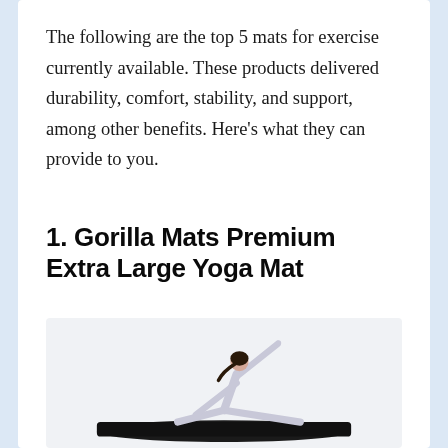The following are the top 5 mats for exercise currently available. These products delivered durability, comfort, stability, and support, among other benefits. Here's what they can provide to you.
1. Gorilla Mats Premium Extra Large Yoga Mat
[Figure (photo): A woman in white athletic wear performing a yoga pose (extended triangle or side stretch) on a large black yoga mat against a white background.]